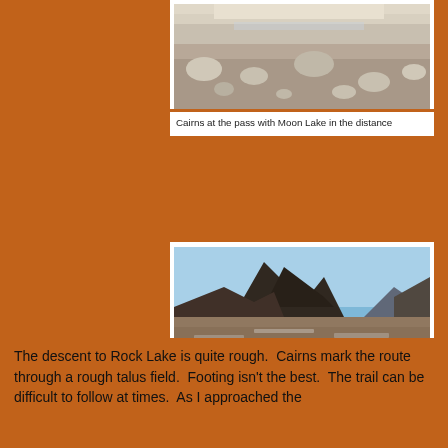[Figure (photo): Photo of cairns and rocky terrain at a mountain pass, with Moon Lake visible in the distance. Sky visible near top. Rocky talus in foreground.]
Cairns at the pass with Moon Lake in the distance
[Figure (photo): Photo of Peters Peak, a prominent dark rocky summit rising above a rocky talus slope. Blue sky in background with additional ridgelines visible.]
Peters Peak is the prominent summit
The descent to Rock Lake is quite rough.  Cairns mark the route through a rough talus field.  Footing isn't the best.  The trail can be difficult to follow at times.  As I approached the